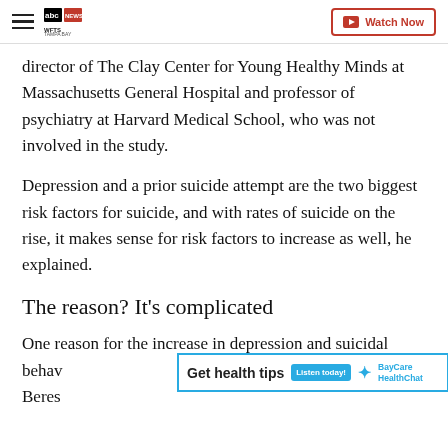WFTS TAMPA BAY | Watch Now
director of The Clay Center for Young Healthy Minds at Massachusetts General Hospital and professor of psychiatry at Harvard Medical School, who was not involved in the study.
Depression and a prior suicide attempt are the two biggest risk factors for suicide, and with rates of suicide on the rise, it makes sense for risk factors to increase as well, he explained.
The reason? It's complicated
One reason for the increase in depression and suicidal behavior... Beres...
[Figure (other): Advertisement banner: Get health tips — Listen today! — BayCare HealthChat]